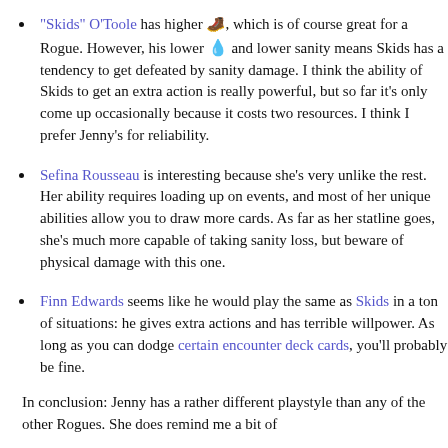"Skids" O'Toole has higher [boot icon], which is of course great for a Rogue. However, his lower [drop icon] and lower sanity means Skids has a tendency to get defeated by sanity damage. I think the ability of Skids to get an extra action is really powerful, but so far it's only come up occasionally because it costs two resources. I think I prefer Jenny's for reliability.
Sefina Rousseau is interesting because she's very unlike the rest. Her ability requires loading up on events, and most of her unique abilities allow you to draw more cards. As far as her statline goes, she's much more capable of taking sanity loss, but beware of physical damage with this one.
Finn Edwards seems like he would play the same as Skids in a ton of situations: he gives extra actions and has terrible willpower. As long as you can dodge certain encounter deck cards, you'll probably be fine.
In conclusion: Jenny has a rather different playstyle than any of the other Rogues. She does remind me a bit of